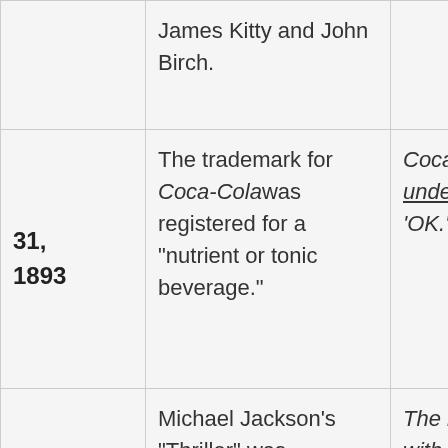| Date | Event | Notes |
| --- | --- | --- |
|  | James Kitty and John Birch. |  |
| 31, 1893 | The trademark for Coca-Cola was registered for a "nutrient or tonic beverage." | Coca- [unde...] 'OK.' |
| 31, 1983 | Michael Jackson's "Thriller" was copyrighted. | The [with] Eagl[...] selli[...] (http...) |